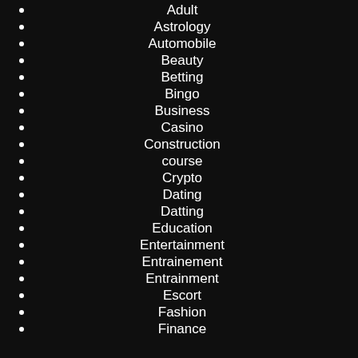Adult
Astrology
Automobile
Beauty
Betting
Bingo
Business
Casino
Construction
course
Crypto
Dating
Datting
Education
Entertainment
Entrainement
Entrainment
Escort
Fashion
Finance